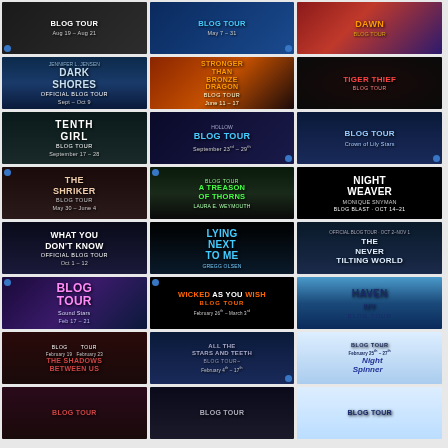[Figure (infographic): Grid of 24 book blog tour promotional banners arranged in 3 columns and 8 rows. Each cell shows a different book's blog tour banner with title, dates, and decorative imagery.]
BLOG TOUR - Aug 19 - Aug 21
BLOG TOUR - May 7 - 31
DAWN - BLOG TOUR
DARK SHORES - Official Blog Tour - Sept - Oct 9
STRONGER THAN BRONZE DRAGON - Blog Tour - June 11 - 17
TIGER THIEF - Blog Tour
THE TENTH GIRL - Blog Tour - September 17 - 28
BLOG TOUR - September 23rd - 29th
BLOG TOUR - Crown of Stars
THE SHRIKER - Blog Tour - May 30 - June 4
A TREASON OF THORNS - Laura E. Weymouth - Blog Tour
NIGHT WEAVER - Monique Snyman - Blog Tour - Oct 14-21
WHAT YOU DON'T KNOW - Official Blog Tour - Oct 1-12
LYING NEXT TO ME - Gregg Olsen - Blog Tour
THE NEVER TILTING WORLD - Official Blog Tour - Oct 2-Nov 1
BLOG TOUR - Sound Stars - Feb 17-21
WICKED AS YOU WISH - Blog Tour - February 26 - March 3
HAVEN - Blog Tour
THE SHADOWS BETWEEN US - Blog Tour - February 19 - February 23
ALL THE STARS AND TEETH - Blog Tour - February 4 - 17
NIGHT SPINNER - Blog Tour - February 25 - 27